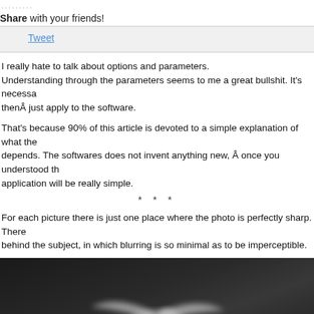..........
Share with your friends!
Tweet
I really hate to talk about options and parameters. Understanding through the parameters seems to me a great bullshit. It's necessary thenÂ just apply to the software.
That's because 90% of this article is devoted to a simple explanation of what the depends. The softwares does not invent anything new, Â once you understood the application will be really simple.
* * *
For each picture there is just one place where the photo is perfectly sharp. There behind the subject, in which blurring is so minimal as to be imperceptible.
[Figure (photo): Dark background photo of a bird in flight, blurred, showing depth of field effect]